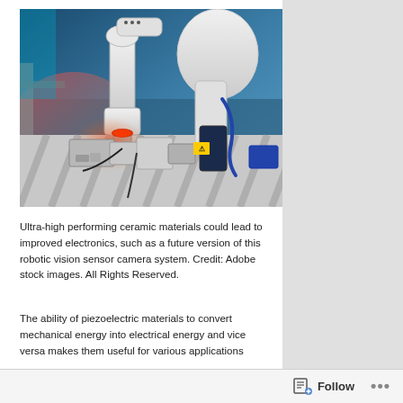[Figure (photo): Industrial robotic arms on a manufacturing assembly line. Multiple white robotic arms are shown working on machinery components on a conveyor belt. The scene has blue and teal lighting with metallic silver components. A laser warning sticker is visible on one component.]
Ultra-high performing ceramic materials could lead to improved electronics, such as a future version of this robotic vision sensor camera system. Credit: Adobe stock images. All Rights Reserved.
The ability of piezoelectric materials to convert mechanical energy into electrical energy and vice versa makes them useful for various applications